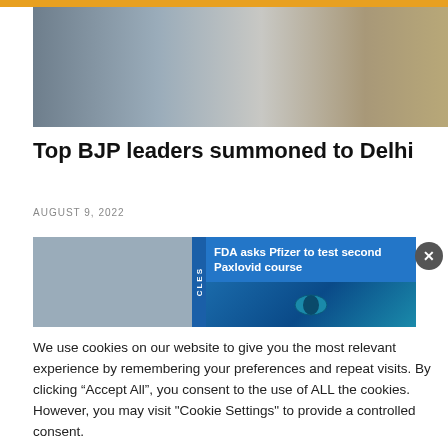[Figure (photo): Partial photo of politicians in formal Indian attire — one in grey vest jacket, another in white kurta, another in beige sherwani]
Top BJP leaders summoned to Delhi
AUGUST 9, 2022
[Figure (infographic): Ad/notification bar with blue strip labeled CLES, blue background panel with text 'FDA asks Pfizer to test second Paxlovid course', close button (x), and pill image area]
We use cookies on our website to give you the most relevant experience by remembering your preferences and repeat visits. By clicking "Accept All", you consent to the use of ALL the cookies. However, you may visit "Cookie Settings" to provide a controlled consent.
Cookie Settings    Accept All